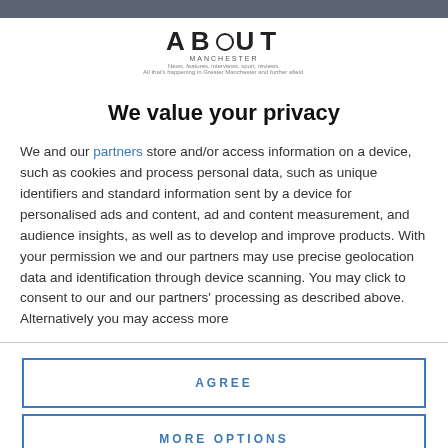[Figure (logo): About Manchester logo with tagline: News, features, interviews, sport, reviews. All that's happening in Greater Manchester and further afield.]
We value your privacy
We and our partners store and/or access information on a device, such as cookies and process personal data, such as unique identifiers and standard information sent by a device for personalised ads and content, ad and content measurement, and audience insights, as well as to develop and improve products. With your permission we and our partners may use precise geolocation data and identification through device scanning. You may click to consent to our and our partners' processing as described above. Alternatively you may access more
AGREE
MORE OPTIONS
community meetings rooms, and free public access to